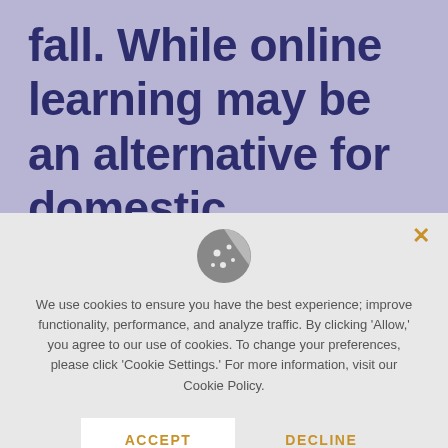fall. While online learning may be an alternative for domestic students, international students are
[Figure (screenshot): Cookie consent modal dialog with a cookie icon, close button (x), explanatory text about cookie usage, and two buttons: ACCEPT and DECLINE.]
We use cookies to ensure you have the best experience; improve functionality, performance, and analyze traffic. By clicking 'Allow,' you agree to our use of cookies. To change your preferences, please click 'Cookie Settings.' For more information, visit our Cookie Policy.
ACCEPT
DECLINE